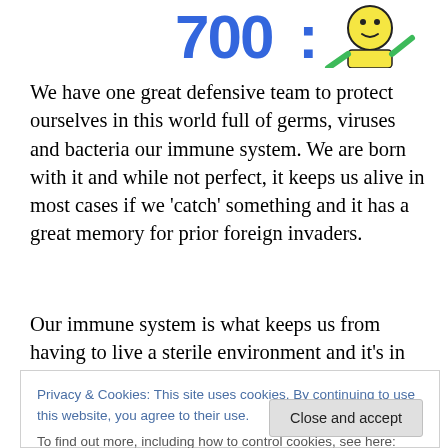[Figure (illustration): Cartoon illustration showing the number '700' in blue with a colon, and a cartoon character wearing a yellow outfit, partially visible at the top of the page.]
We have one great defensive team to protect ourselves in this world full of germs, viruses and bacteria our immune system. We are born with it and while not perfect, it keeps us alive in most cases if we 'catch' something and it has a great memory for prior foreign invaders.
Our immune system is what keeps us from having to live a sterile environment and it's in our best interest to keep our immune system strong so that when some invaders
Privacy & Cookies: This site uses cookies. By continuing to use this website, you agree to their use.
To find out more, including how to control cookies, see here: Cookie Policy
Close and accept